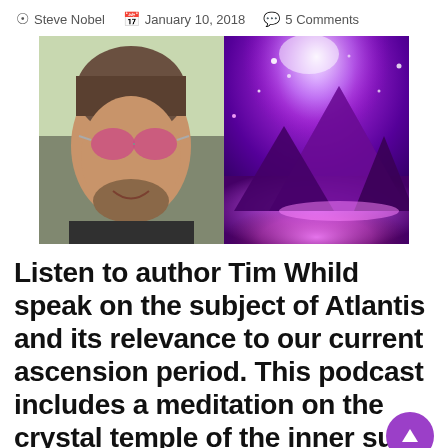Steve Nobel  January 10, 2018  5 Comments
[Figure (photo): Two side-by-side photos: left shows a man with sunglasses smiling outdoors; right shows glowing pyramids with purple/violet light background.]
Listen to author Tim Whild speak on the subject of Atlantis and its relevance to our current ascension period. This podcast includes a meditation on the crystal temple of the inner sun.